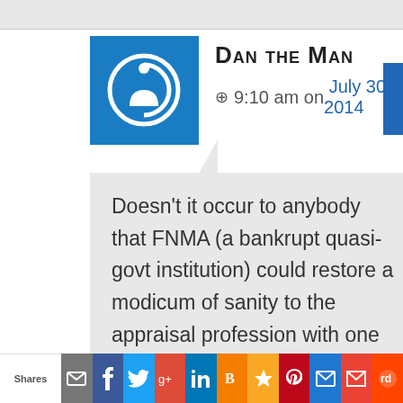Dan the Man
9:10 am on July 30, 2014
Doesn't it occur to anybody that FNMA (a bankrupt quasi-govt institution) could restore a modicum of sanity to the appraisal profession with one carefully worded letter to its lender clients
Shares | email | facebook | twitter | google+ | linkedin | blogger | favorites | pinterest | outlook | gmail | reddit